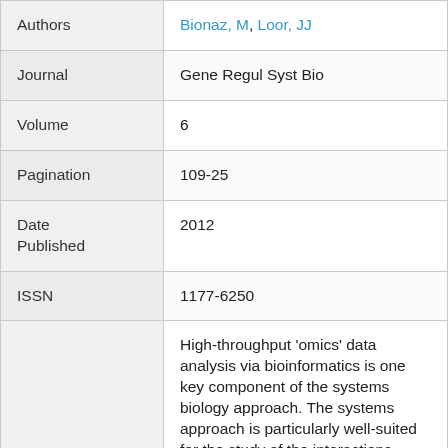| Authors | Bionaz, M; Loor, JJ |
| Journal | Gene Regul Syst Bio |
| Volume | 6 |
| Pagination | 109-25 |
| Date Published | 2012 |
| ISSN | 1177-6250 |
|  | High-throughput 'omics' data analysis via bioinformatics is one key component of the systems biology approach. The systems approach is particularly well-suited for the study of the interactions between nutrition |